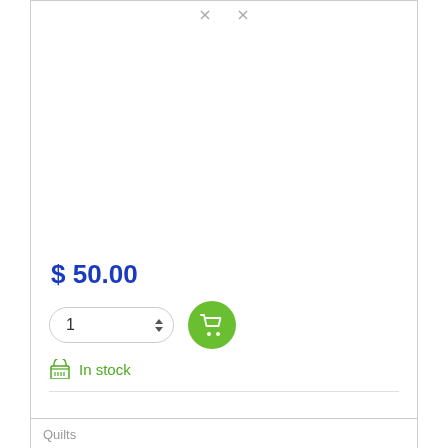[Figure (screenshot): E-commerce product page showing navigation arrows at top, product image area (white/blank), price of $50.00, quantity selector with value 1, green add-to-cart button with cart icon, In stock indicator with basket icon]
$ 50.00
1
In stock
Wishlist
Quilts